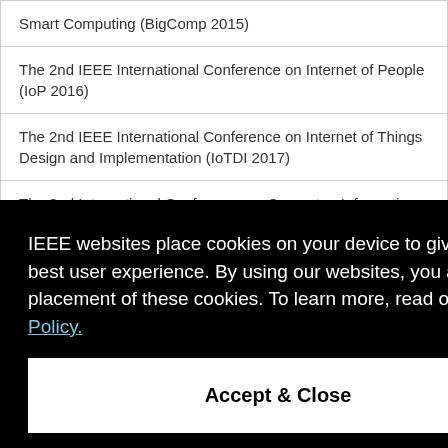Smart Computing (BigComp 2015)
The 2nd IEEE International Conference on Internet of People (IoP 2016)
The 2nd IEEE International Conference on Internet of Things Design and Implementation (IoTDI 2017)
The 2nd International Conference on Computer, Information ...ICT-...
The 30th IEEE International Conference on Data Engineering
IEEE websites place cookies on your device to give you the best user experience. By using our websites, you agree to the placement of these cookies. To learn more, read our Privacy Policy.
Accept & Close